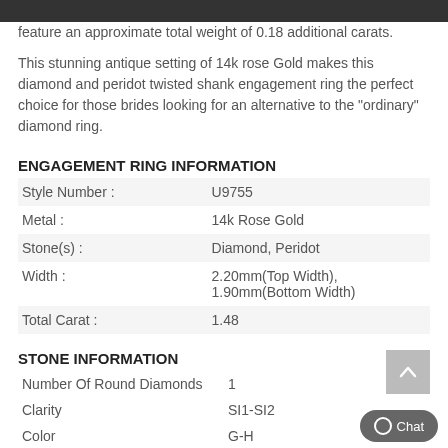feature an approximate total weight of 0.18 additional carats.
This stunning antique setting of 14k rose Gold makes this diamond and peridot twisted shank engagement ring the perfect choice for those brides looking for an alternative to the "ordinary" diamond ring.
ENGAGEMENT RING INFORMATION
| Field | Value |
| --- | --- |
| Style Number : | U9755 |
| Metal : | 14k Rose Gold |
| Stone(s) : | Diamond, Peridot |
| Width : | 2.20mm(Top Width), 1.90mm(Bottom Width) |
| Total Carat : | 1.48 |
STONE INFORMATION
| Field | Value |
| --- | --- |
| Number Of Round Diamonds | 1 |
| Clarity | SI1-SI2 |
| Color | G-H |
| Setting Type | Prong |